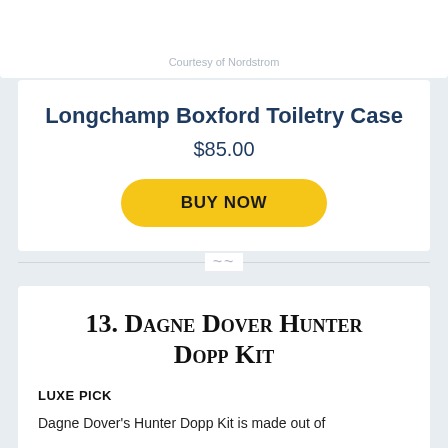Courtesy of Nordstrom
Longchamp Boxford Toiletry Case
$85.00
BUY NOW
13. Dagne Dover Hunter Dopp Kit
LUXE PICK
Dagne Dover's Hunter Dopp Kit is made out of